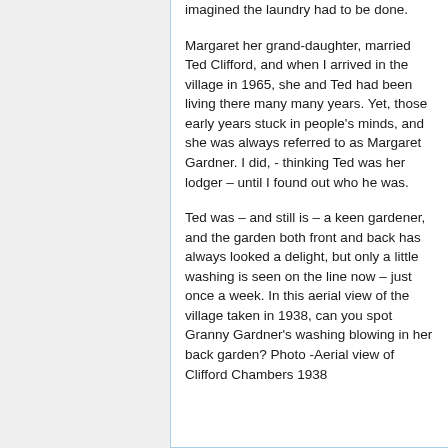imagined the laundry had to be done.
Margaret her grand-daughter, married Ted Clifford, and when I arrived in the village in 1965, she and Ted had been living there many many years. Yet, those early years stuck in people's minds, and she was always referred to as Margaret Gardner. I did, - thinking Ted was her lodger – until I found out who he was.
Ted was – and still is – a keen gardener, and the garden both front and back has always looked a delight, but only a little washing is seen on the line now – just once a week. In this aerial view of the village taken in 1938, can you spot Granny Gardner's washing blowing in her back garden? Photo -Aerial view of Clifford Chambers 1938